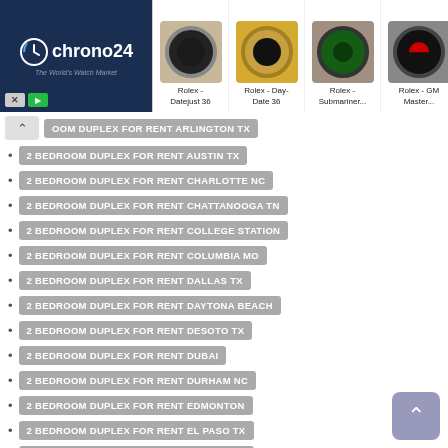[Figure (screenshot): Chrono24 advertisement banner showing watch market logo and four Rolex watch images with labels: Rolex - Datejust 36, Rolex - Day-Date 36, Rolex - Submariner..., Rolex - GM Master...]
2 BEDROOM DUPLEX FOR RENT ARLINGTON TX
2 BEDROOM DUPLEX FOR RENT AUSTIN TX
2 BEDROOM DUPLEX FOR RENT CHARLOTTE NC
2 BEDROOM DUPLEX FOR RENT CHATTANOOGA TN
2 BEDROOM DUPLEX FOR RENT COLLEGE STATION
2 BEDROOM DUPLEX FOR RENT COLUMBIA MO
2 BEDROOM DUPLEX FOR RENT DALLAS TX
2 BEDROOM DUPLEX FOR RENT DAYTONA BEACH
2 BEDROOM DUPLEX FOR RENT DESOTO TX
2 BEDROOM DUPLEX FOR RENT DUBAI
2 BEDROOM DUPLEX FOR RENT DURHAM NC
2 BEDROOM DUPLEX FOR RENT EDMONTON
2 BEDROOM DUPLEX FOR RENT EL PASO TX
2 BEDROOM DUPLEX FOR RENT ELK GROVE
2 BEDROOM DUPLEX FOR RENT ELK GROVE CA
2 BEDROOM DUPLEX FOR RENT EUGENE OREGON